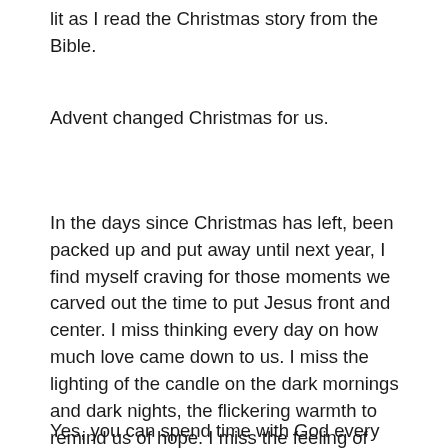lit as I read the Christmas story from the Bible.
Advent changed Christmas for us.
In the days since Christmas has left, been packed up and put away until next year, I find myself craving for those moments we carved out the time to put Jesus front and center. I miss thinking every day on how much love came down to us. I miss the lighting of the candle on the dark mornings and dark nights, the flickering warmth to remind us of hope. I miss the feeling of waiting with expectation.
Yes, you can spend time with God every